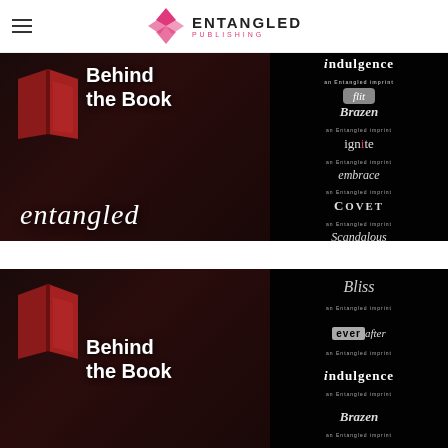Entangled Publishing
[Figure (illustration): Behind the Book banner for Entangled Publishing featuring a red open book graphic with 'Behind the Book' text and 'entangled' script, alongside imprint logos: Indulgence, Flit, Brazen, Ignite, Embrace, Covet, Scandalous]
[Figure (illustration): Behind the Book banner for Entangled Publishing featuring a red open book graphic with 'Behind the Book' text, alongside imprint logos: Bliss, Ever After, Indulgence, Brazen]